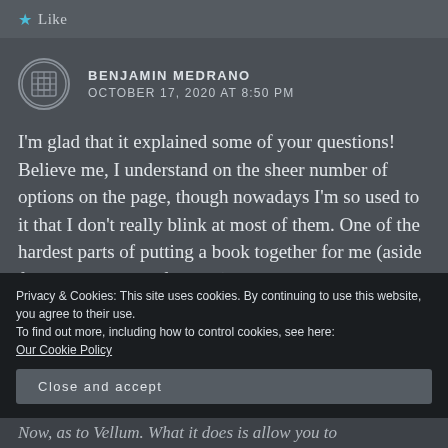Like
BENJAMIN MEDRANO
OCTOBER 17, 2020 AT 8:50 PM
I'm glad that it explained some of your questions! Believe me, I understand on the sheer number of options on the page, though nowadays I'm so used to it that I don't really blink at most of them. One of the hardest parts of putting a book together for me (aside from the writing, of course) is choosing keywords. A lot
Privacy & Cookies: This site uses cookies. By continuing to use this website, you agree to their use.
To find out more, including how to control cookies, see here:
Our Cookie Policy
Close and accept
Now, as to Vellum. What it does is allow you to